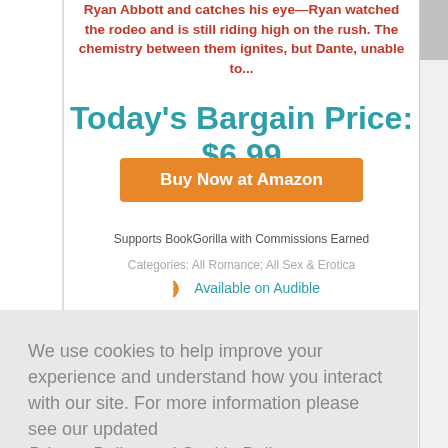Ryan Abbott and catches his eye—Ryan watched the rodeo and is still riding high on the rush. The chemistry between them ignites, but Dante, unable to...
Today's Bargain Price: $6.99
Buy Now at Amazon
Supports BookGorilla with Commissions Earned
Categories: All Romance; All Sex & Erotica
Available on Audible
We use cookies to help improve your experience and understand how you interact with our site. For more information please see our updated Privacy Policy and Cookie Policy
Don't show this again